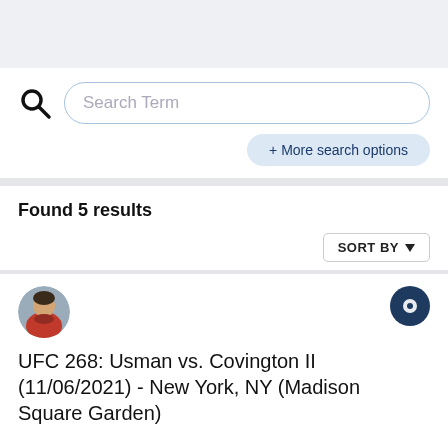[Figure (screenshot): Top navigation/header bar with light gray background]
[Figure (screenshot): Search bar with magnifying glass icon and placeholder text 'Search Term']
+ More search options
Found 5 results
SORT BY
[Figure (photo): Circular avatar photo of a person wearing a red jacket]
UFC 268: Usman vs. Covington II (11/06/2021) - New York, NY (Madison Square Garden)